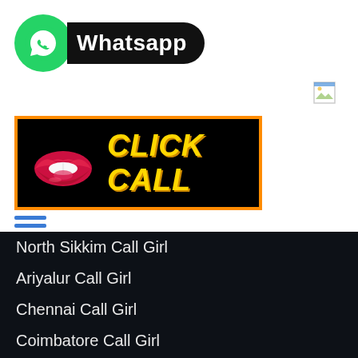[Figure (logo): WhatsApp logo badge with green circle containing white phone/chat icon and black pill-shaped label reading 'Whatsapp']
[Figure (other): Broken image placeholder icon (small, top right)]
[Figure (other): Black banner with orange border showing red lips icon and yellow italic text 'CLICK CALL']
[Figure (other): Blue hamburger menu icon (three horizontal lines)]
North Sikkim Call Girl
Ariyalur Call Girl
Chennai Call Girl
Coimbatore Call Girl
Cuddalore Call Girl
Dharmapuri Call Girl